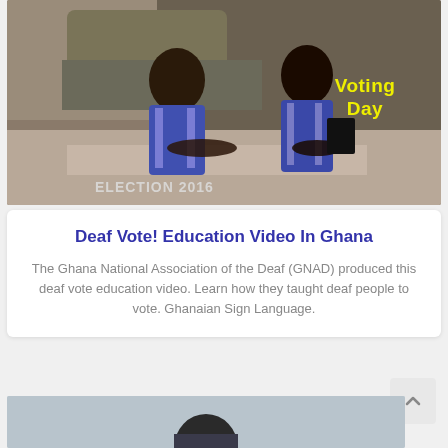[Figure (photo): Two people wearing blue election worker vests leaning over a table outdoors near a vehicle. Text overlay reads 'Voting Day' in yellow and 'ELECTION 2016' at bottom left.]
Deaf Vote! Education Video In Ghana
The Ghana National Association of the Deaf (GNAD) produced this deaf vote education video. Learn how they taught deaf people to vote. Ghanaian Sign Language.
[Figure (photo): Partial view of a second photo at the bottom of the page, appears to show a person indoors.]